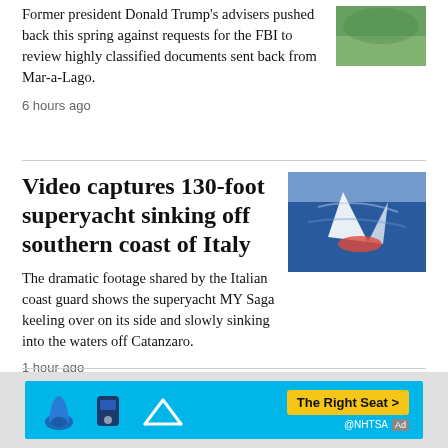Former president Donald Trump's advisers pushed back this spring against requests for the FBI to review highly classified documents sent back from Mar-a-Lago.
[Figure (photo): Partial image of a tropical/outdoor scene with green foliage]
6 hours ago
Video captures 130-foot superyacht sinking off southern coast of Italy
[Figure (photo): A superyacht keeling over and sinking in blue ocean water off the coast of Italy]
The dramatic footage shared by the Italian coast guard shows the superyacht MY Saga keeling over on its side and slowly sinking into the waters off Catanzaro.
1 hour ago
[Figure (other): NHTSA advertisement banner with 'The Right Seat >' button and car seat safety icons on cyan background]